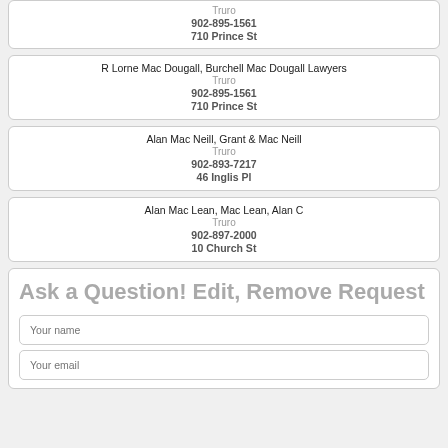Truro
902-895-1561
710 Prince St
R Lorne Mac Dougall, Burchell Mac Dougall Lawyers
Truro
902-895-1561
710 Prince St
Alan Mac Neill, Grant & Mac Neill
Truro
902-893-7217
46 Inglis Pl
Alan Mac Lean, Mac Lean, Alan C
Truro
902-897-2000
10 Church St
Ask a Question! Edit, Remove Request
Your name